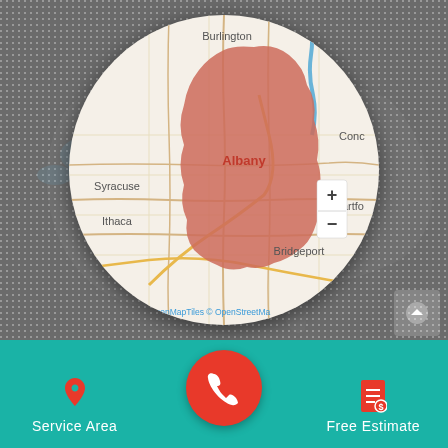[Figure (map): Circular map showing service area around Albany, NY highlighted in red/orange. Surrounding cities visible: Burlington (top), Syracuse, Ithaca (left), Concord (right), Hartford, Bridgeport (bottom right). OpenMapTiles © OpenStreetMap attribution shown. Zoom controls (+/-) visible. Background is a dotted dark grey US map.]
Service Area
Free Estimate